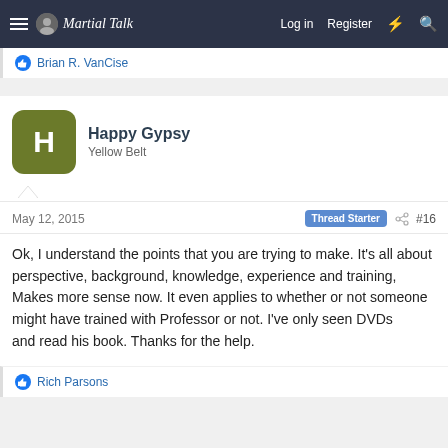Martial Talk — Log in  Register
Brian R. VanCise
Happy Gypsy
Yellow Belt
May 12, 2015  Thread Starter  #16
Ok, I understand the points that you are trying to make. It's all about perspective, background, knowledge, experience and training,
Makes more sense now. It even applies to whether or not someone might have trained with Professor or not. I've only seen DVDs
and read his book. Thanks for the help.
Rich Parsons